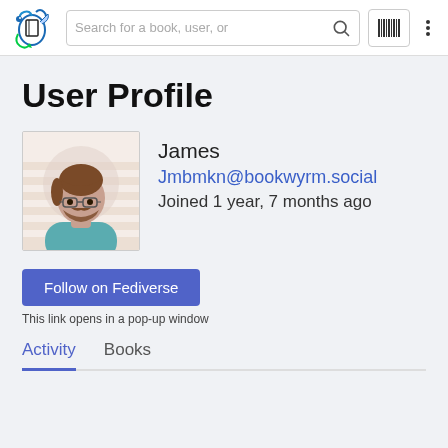Search for a book, user, or
User Profile
[Figure (illustration): Avatar image of a cartoon man with glasses and beard wearing a teal shirt, with horizontal stripe background]
James
Jmbmkn@bookwyrm.social
Joined 1 year, 7 months ago
Follow on Fediverse
This link opens in a pop-up window
Activity	Books